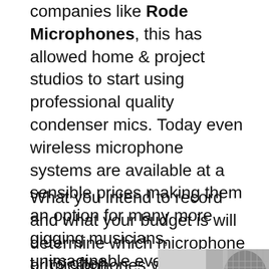companies like Rode Microphones, this has allowed home & project studios to start using professional quality condenser mics. Today even wireless microphone systems are available at a sensible prices making them an option for many more gigging musicians, unimaginable even ten years ago.
What you intend to record and what your budget is will determine which microphone or microphones you should buy firs
t. It's often better to get one good, high quality
[Figure (photo): Close-up photo of a microphone head, showing the metallic mesh grille and body, partially visible at the bottom-right corner of the page.]